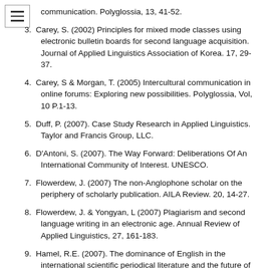communication. Polyglossia, 13, 41-52.
3. Carey, S. (2002) Principles for mixed mode classes using electronic bulletin boards for second language acquisition. Journal of Applied Linguistics Association of Korea. 17, 29-37.
4. Carey, S & Morgan, T. (2005) Intercultural communication in online forums: Exploring new possibilities. Polyglossia, Vol, 10 P.1-13.
5. Duff, P. (2007). Case Study Research in Applied Linguistics. Taylor and Francis Group, LLC.
6. D'Antoni, S. (2007). The Way Forward: Deliberations Of An International Community of Interest. UNESCO.
7. Flowerdew, J. (2007) The non-Anglophone scholar on the periphery of scholarly publication. AILA Review. 20, 14-27.
8. Flowerdew, J. & Yongyan, L (2007) Plagiarism and second language writing in an electronic age. Annual Review of Applied Linguistics, 27, 161-183.
9. Hamel, R.E. (2007). The dominance of English in the international scientific periodical literature and the future of language use in science. AILA Review, 20, 53-71.